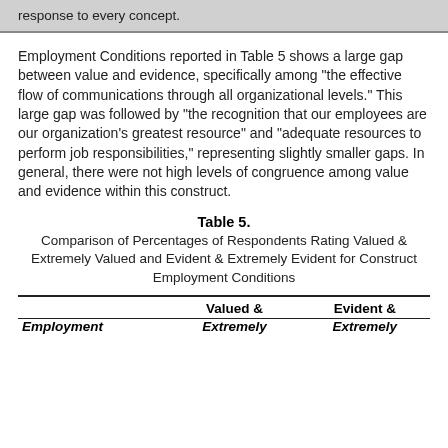response to every concept.
Employment Conditions reported in Table 5 shows a large gap between value and evidence, specifically among "the effective flow of communications through all organizational levels." This large gap was followed by "the recognition that our employees are our organization's greatest resource" and "adequate resources to perform job responsibilities," representing slightly smaller gaps. In general, there were not high levels of congruence among value and evidence within this construct.
Table 5.
Comparison of Percentages of Respondents Rating Valued & Extremely Valued and Evident & Extremely Evident for Construct Employment Conditions
| Employment | Valued & Extremely | Evident & Extremely |
| --- | --- | --- |